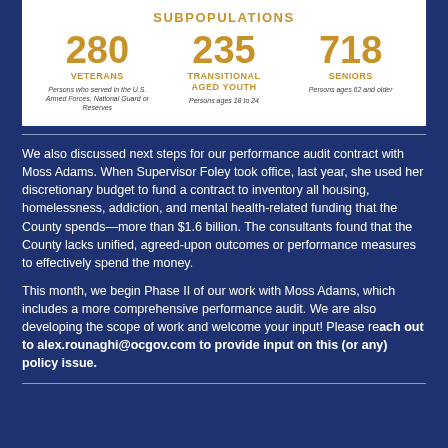SUBPOPULATIONS
[Figure (infographic): Three subpopulation statistics: 280 Veterans, 235 Transitional Aged Youth, 718 Seniors]
We also discussed next steps for our performance audit contract with Moss Adams. When Supervisor Foley took office, last year, she used her discretionary budget to fund a contract to inventory all housing, homelessness, addiction, and mental health-related funding that the County spends—more than $1.6 billion. The consultants found that the County lacks unified, agreed-upon outcomes or performance measures to effectively spend the money.
This month, we begin Phase II of our work with Moss Adams, which includes a more comprehensive performance audit. We are also developing the scope of work and welcome your input! Please reach out to alex.rounaghi@ocgov.com to provide input on this (or any) policy issue.